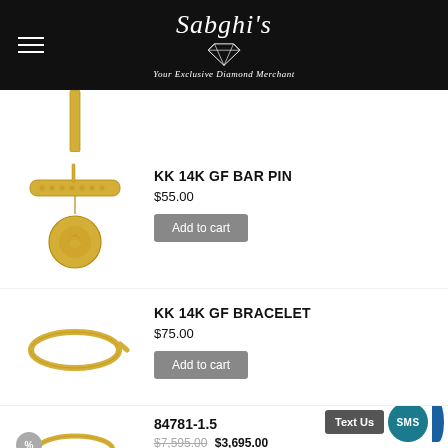Sabghi's — Your Exclusive Diamond Merchant
[Figure (photo): Partial gold bar/ingot product image at top, cropped]
[Figure (photo): KK 14K GF Bar Pin — gold bar pin with dangling coin charm]
KK 14K GF BAR PIN
$55.00
Add to cart
[Figure (photo): KK 14K GF Bracelet — gold thin bangle bracelet]
KK 14K GF BRACELET
$75.00
Add to cart
[Figure (photo): Partial product image at bottom, partially visible ring or jewelry]
84781-1.5
$7,595.00  $3,695.00